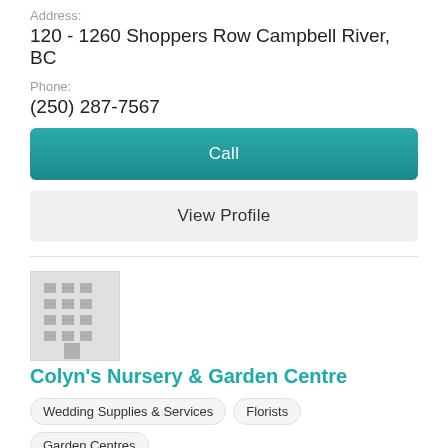Address:
120 - 1260 Shoppers Row Campbell River, BC
Phone:
(250) 287-7567
Call
View Profile
[Figure (illustration): Generic building/business placeholder icon — grey square with grid of window squares and a door at bottom center]
Colyn's Nursery & Garden Centre
Wedding Supplies & Services
Florists
Garden Centres
Plant Nursery
Address:
4860 Beaver Creek Rd Port Alberni, BC